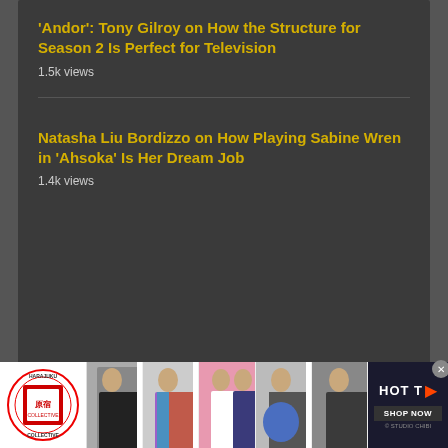'Andor': Tony Gilroy on How the Structure for Season 2 Is Perfect for Television
1.5k views
Natasha Liu Bordizzo on How Playing Sabine Wren in 'Ahsoka' Is Her Dream Job
1.4k views
LATEST CANTINA FORUM POSTS
[Figure (illustration): The Cantina forum banner image with stylized Star Wars alien characters and text 'THE CANTINA' with Aurebesh text below]
[Figure (infographic): Advertisement banner with Harajuku Collective logo, fashion photos of people in various outfits, and HOTT TV Shop Now button with close button]